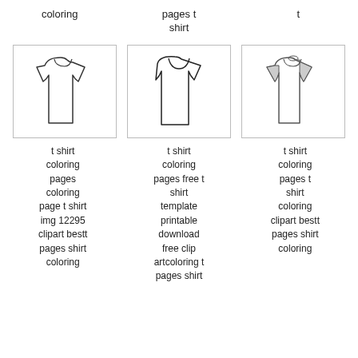coloring
pages t shirt
t
[Figure (illustration): Line drawing of a t-shirt, simple outline style]
[Figure (illustration): Line drawing of a t-shirt coloring page outline]
[Figure (illustration): Line drawing of a t-shirt with shading on sleeves]
t shirt coloring pages coloring page t shirt img 12295 clipart bestt pages shirt coloring
t shirt coloring pages free t shirt template printable download free clip artcoloring t pages shirt
t shirt coloring pages t shirt coloring clipart bestt pages shirt coloring